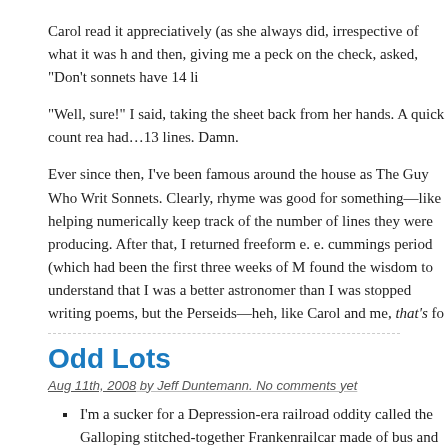Carol read it appreciatively (as she always did, irrespective of what it was h... and then, giving me a peck on the check, asked, "Don't sonnets have 14 li...
"Well, sure!" I said, taking the sheet back from her hands. A quick count rea... had…13 lines. Damn.
Ever since then, I've been famous around the house as The Guy Who Writ... Sonnets. Clearly, rhyme was good for something—like helping numerically... keep track of the number of lines they were producing. After that, I returned... freeform e. e. cummings period (which had been the first three weeks of M... found the wisdom to understand that I was a better astronomer than I was ... stopped writing poems, but the Perseids—heh, like Carol and me, that's fo...
Odd Lots
Aug 11th, 2008 by Jeff Duntemann. No comments yet
I'm a sucker for a Depression-era railroad oddity called the Galloping ... stitched-together Frankenrailcar made of bus and truck parts and othe... Albrecht sent me a link to a nice history/photo site, revealing somethin... That there's a Goose still running and giving rides, down in southwest... Won't happen this year, but next year fersure!